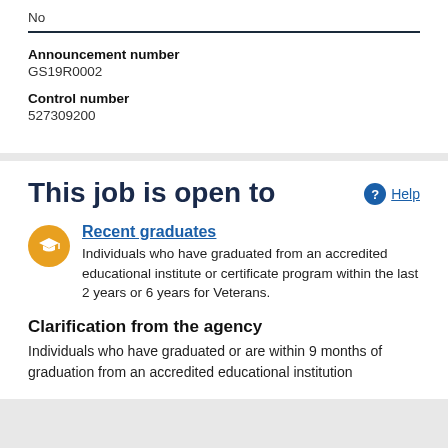No
Announcement number
GS19R0002
Control number
527309200
This job is open to
Recent graduates
Individuals who have graduated from an accredited educational institute or certificate program within the last 2 years or 6 years for Veterans.
Clarification from the agency
Individuals who have graduated or are within 9 months of graduation from an accredited educational institution